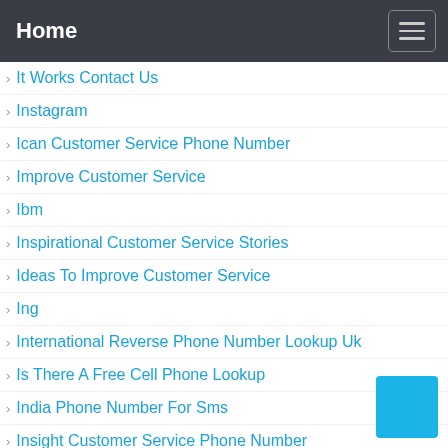Home
It Works Contact Us
Instagram
Ican Customer Service Phone Number
Improve Customer Service
Ibm
Inspirational Customer Service Stories
Ideas To Improve Customer Service
Ing
International Reverse Phone Number Lookup Uk
Is There A Free Cell Phone Lookup
India Phone Number For Sms
Insight Customer Service Phone Number